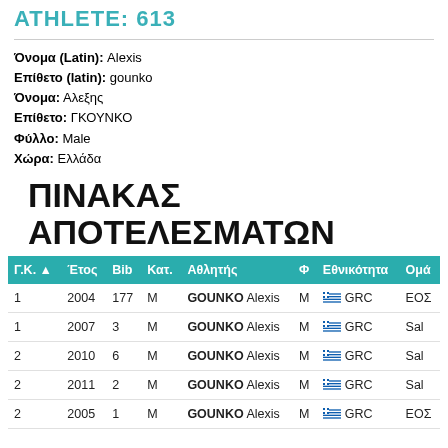ATHLETE: 613
Όνομα (Latin): Alexis
Επίθετο (latin): gounko
Όνομα: Αλεξης
Επίθετο: ΓΚΟΥΝΚΟ
Φύλλο: Male
Χώρα: Ελλάδα
ΠΙΝΑΚΑΣ ΑΠΟΤΕΛΕΣΜΑΤΩΝ
| Γ.Κ. | Έτος | Bib | Κατ. | Αθλητής | Φ | Εθνικότητα | Ομά |
| --- | --- | --- | --- | --- | --- | --- | --- |
| 1 | 2004 | 177 | M | GOUNKO Alexis | M | GRC | ΕΟΣ |
| 1 | 2007 | 3 | M | GOUNKO Alexis | M | GRC | Sal |
| 2 | 2010 | 6 | M | GOUNKO Alexis | M | GRC | Sal |
| 2 | 2011 | 2 | M | GOUNKO Alexis | M | GRC | Sal |
| 2 | 2005 | 1 | M | GOUNKO Alexis | M | GRC | ΕΟΣ |